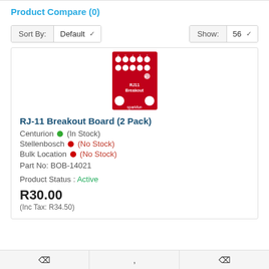Product Compare (0)
Sort By: Default   Show: 56
[Figure (photo): Red SparkFun RJ11 Breakout Board PCB product image]
RJ-11 Breakout Board (2 Pack)
Centurion  (In Stock)
Stellenbosch  (No Stock)
Bulk Location  (No Stock)
Part No: BOB-14021
Product Status : Active
R30.00
(Inc Tax: R34.50)